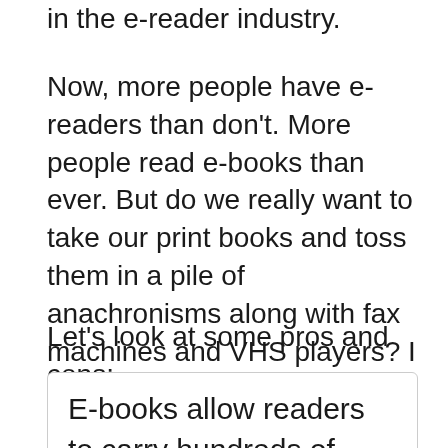in the e-reader industry.
Now, more people have e-readers than don't. More people read e-books than ever. But do we really want to take our print books and toss them in a pile of anachronisms along with fax machines and VHS players? I don't think so. There are still many people who prefer reading books.
Let's look at some pros and cons:
E-books allow readers to carry hundreds of books around with them all the time